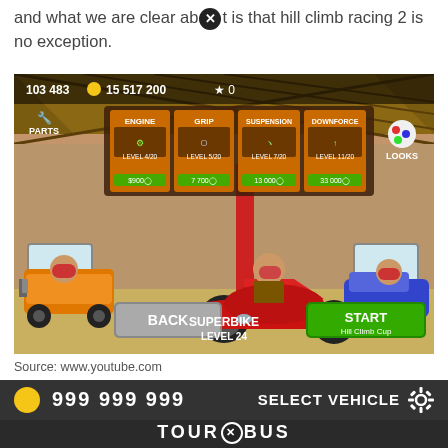and what we are clear about is that hill climb racing 2 is no exception.
[Figure (screenshot): Hill Climb Racing 2 game screenshot showing vehicle upgrade screen with Superbike Level 24. Shows ENGINE (Level 4/20, $900), GRIP (Level 5/20, 7700), SUSPENSION (Level 7/20, 13000), DOWNFORCE (Level 11/20, 33000) upgrade options. Three vehicles shown: orange kart, red superbike in center, blue car. BACK button on left, START Hill Climb Cup button on right. Score: 103483, coins: 15517200, stars: 0.]
Source: www.youtube.com
Hill climb racing hack apk is a fantastic racing game. The game also features “time attack” mode, showing your.
999 999 999   SELECT VEHICLE   TOUR BUS